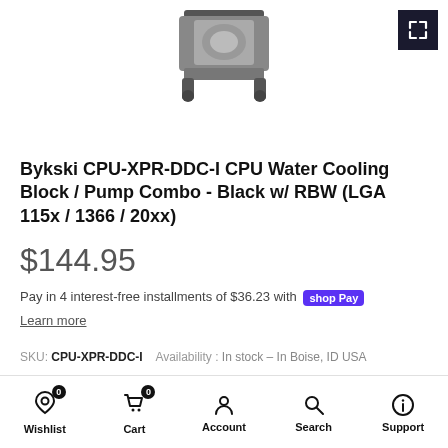[Figure (photo): Partial product image of a Bykski CPU water cooling block / pump combo, showing the bottom mounting bracket portion against a white background]
Bykski CPU-XPR-DDC-I CPU Water Cooling Block / Pump Combo - Black w/ RBW (LGA 115x / 1366 / 20xx)
$144.95
Pay in 4 interest-free installments of $36.23 with Shop Pay
Learn more
SKU: CPU-XPR-DDC-I   Availability : In stock - In Boise, ID USA
Wishlist 0  Cart 0  Account  Search  Support